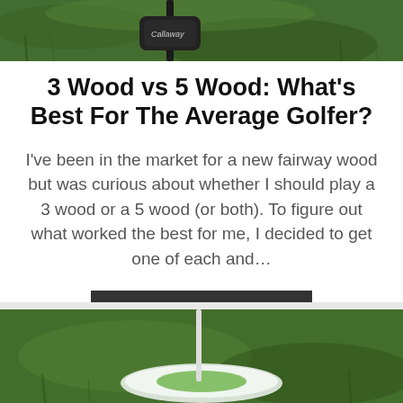[Figure (photo): Top portion of a golf club (Callaway driver) resting on grass, partially cropped at top]
3 Wood vs 5 Wood: What's Best For The Average Golfer?
I've been in the market for a new fairway wood but was curious about whether I should play a 3 wood or a 5 wood (or both). To figure out what worked the best for me, I decided to get one of each and...
CONTINUE READING
[Figure (photo): Bottom portion showing another golf club (green/white) on grass, partially cropped]